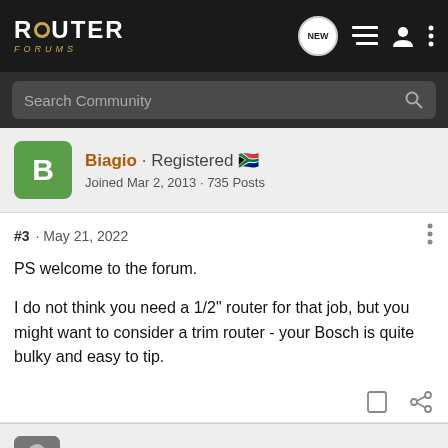ROUTER FORUMS
Search Community
Biagio · Registered 🇿🇦
Joined Mar 2, 2013 · 735 Posts
#3 · May 21, 2022
PS welcome to the forum.

I do not think you need a 1/2" router for that job, but you might want to consider a trim router - your Bosch is quite bulky and easy to tip.
jw2170 · Official Greeter